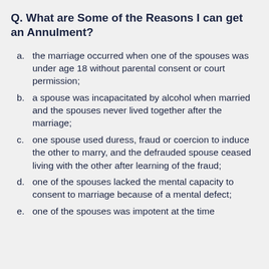Q. What are Some of the Reasons I can get an Annulment?
a. the marriage occurred when one of the spouses was under age 18 without parental consent or court permission;
b. a spouse was incapacitated by alcohol when married and the spouses never lived together after the marriage;
c. one spouse used duress, fraud or coercion to induce the other to marry, and the defrauded spouse ceased living with the other after learning of the fraud;
d. one of the spouses lacked the mental capacity to consent to marriage because of a mental defect;
e. one of the spouses was impotent at the time